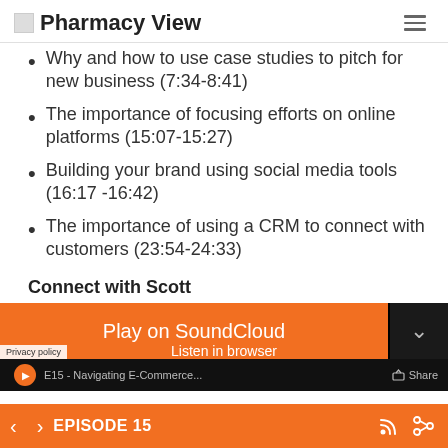Pharmacy View
Why and how to use case studies to pitch for new business (7:34-8:41)
The importance of focusing efforts on online platforms (15:07-15:27)
Building your brand using social media tools (16:17 -16:42)
The importance of using a CRM to connect with customers (23:54-24:33)
Connect with Scott
[Figure (screenshot): SoundCloud embedded player showing 'Play on SoundCloud' orange button, E15 - Navigating E-Commerce episode, Share button, Listen in browser link, and Privacy policy label]
EPISODE 15